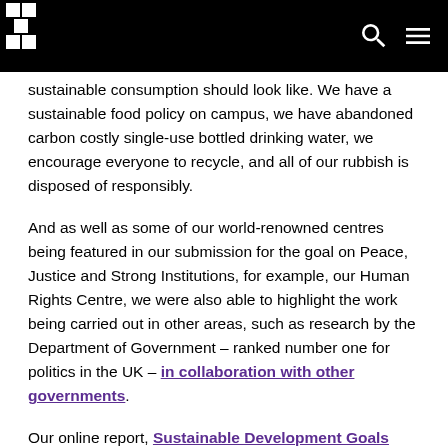[University header with logo and navigation icons]
sustainable consumption should look like. We have a sustainable food policy on campus, we have abandoned carbon costly single-use bottled drinking water, we encourage everyone to recycle, and all of our rubbish is disposed of responsibly.
And as well as some of our world-renowned centres being featured in our submission for the goal on Peace, Justice and Strong Institutions, for example, our Human Rights Centre, we were also able to highlight the work being carried out in other areas, such as research by the Department of Government – ranked number one for politics in the UK – in collaboration with other governments.
Our online report, Sustainable Development Goals